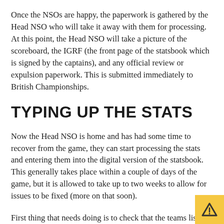Once the NSOs are happy, the paperwork is gathered by the Head NSO who will take it away with them for processing. At this point, the Head NSO will take a picture of the scoreboard, the IGRF (the front page of the statsbook which is signed by the captains), and any official review or expulsion paperwork. This is submitted immediately to British Championships.
TYPING UP THE STATS
Now the Head NSO is home and has had some time to recover from the game, they can start processing the stats and entering them into the digital version of the statsbook. This generally takes place within a couple of days of the game, but it is allowed to take up to two weeks to allow for issues to be fixed (more on that soon).
First thing that needs doing is to check that the teams listed the IGRF match the teams that played in the game. No ska...